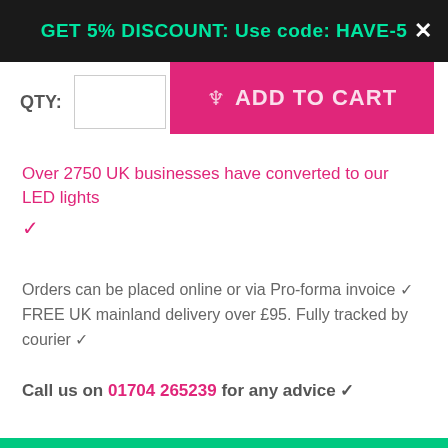GET 5% DISCOUNT: Use code: HAVE-5
QTY: 1  ADD TO CART
Over 2750 UK businesses have converted to our LED lights ✓
Orders can be placed online or via Pro-forma invoice ✓
FREE UK mainland delivery over £95. Fully tracked by courier ✓
Call us on 01704 265239 for any advice ✓